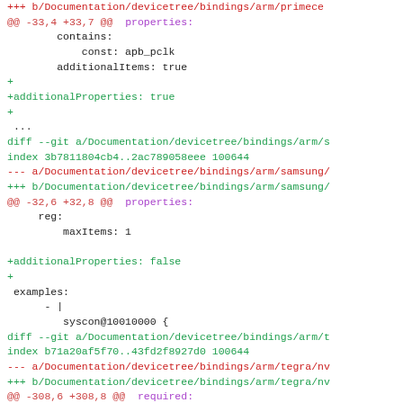diff --git a/Documentation/devicetree/bindings/arm/primecell ... (truncated)
@@ -33,4 +33,7 @@ properties:
contains:
            const: apb_pclk
        additionalItems: true
+
+additionalProperties: true
+
...
diff --git a/Documentation/devicetree/bindings/arm/s...
index 3b7811804cb4..2ac789058eee 100644
--- a/Documentation/devicetree/bindings/arm/samsung/...
+++ b/Documentation/devicetree/bindings/arm/samsung/...
@@ -32,6 +32,8 @@ properties:
reg:
         maxItems: 1
+additionalProperties: false
+
examples:
     - |
         syscon@10010000 {
diff --git a/Documentation/devicetree/bindings/arm/t...
index b71a20af5f70..43fd2f8927d0 100644
--- a/Documentation/devicetree/bindings/arm/tegra/nv...
+++ b/Documentation/devicetree/bindings/arm/tegra/nv...
@@ -308,6 +308,8 @@ required:
- clocks
     - '#clock-cells'
+additionalProperties: false
+